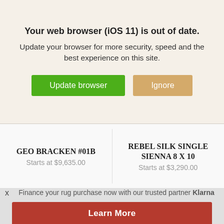Your web browser (iOS 11) is out of date.
Update your browser for more security, speed and the best experience on this site.
Update browser
Ignore
GEO BRACKEN #01B
Starts at $9,635.00
REBEL SILK SINGLE SIENNA 8 X 10
Starts at $3,290.00
Finance your rug purchase now with our trusted partner Klarna
Learn More